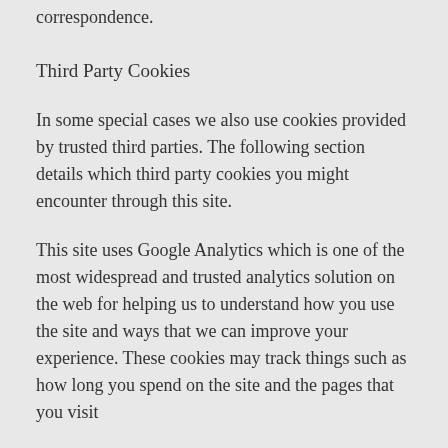correspondence.
Third Party Cookies
In some special cases we also use cookies provided by trusted third parties. The following section details which third party cookies you might encounter through this site.
This site uses Google Analytics which is one of the most widespread and trusted analytics solution on the web for helping us to understand how you use the site and ways that we can improve your experience. These cookies may track things such as how long you spend on the site and the pages that you visit